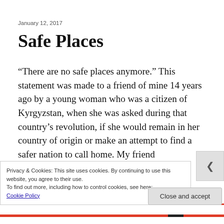January 12, 2017
Safe Places
“There are no safe places anymore.” This statement was made to a friend of mine 14 years ago by a young woman who was a citizen of Kyrgyzstan, when she was asked during that country’s revolution, if she would remain in her country of origin or make an attempt to find a safer nation to call home. My friend
Privacy & Cookies: This site uses cookies. By continuing to use this website, you agree to their use.
To find out more, including how to control cookies, see here:
Cookie Policy
Close and accept